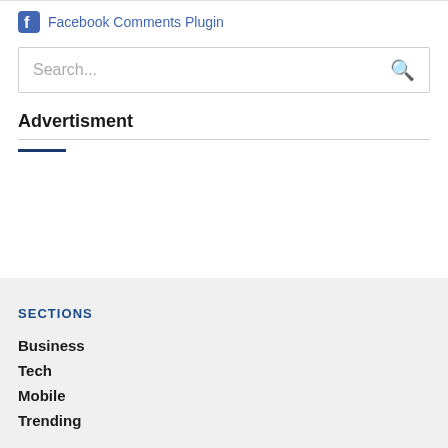Facebook Comments Plugin
Search...
Advertisment
SECTIONS
Business
Tech
Mobile
Trending